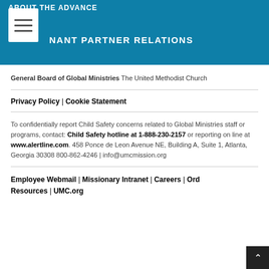ABOUT THE ADVANCE
COVENANT PARTNER RELATIONS
General Board of Global Ministries The United Methodist Church
Privacy Policy | Cookie Statement
To confidentially report Child Safety concerns related to Global Ministries staff or programs, contact: Child Safety hotline at 1-888-230-2157 or reporting on line at www.alertline.com. 458 Ponce de Leon Avenue NE, Building A, Suite 1, Atlanta, Georgia 30308 800-862-4246 | info@umcmission.org
Employee Webmail | Missionary Intranet | Careers | Ord... Resources | UMC.org